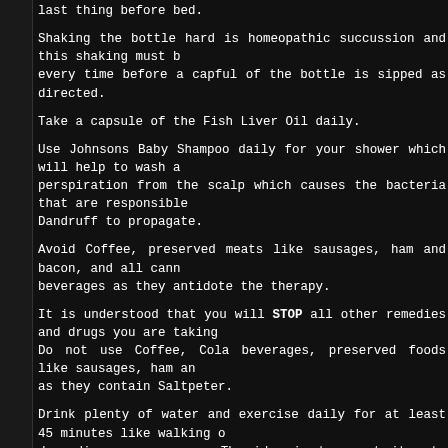last thing before bed.
Shaking the bottle hard is homeopathic succussion and this shaking must be done every time before a capful of the bottle is sipped as directed.
Take a capsule of the Fish Liver Oil daily.
Use Johnsons Baby Shampoo daily for your shower which will help to wash away the perspiration from the scalp which causes the bacteria that are responsible for Dandruff to propagate.
Avoid Coffee, preserved meats like sausages, ham and bacon, and all canned beverages as they antidote the therapy.
It is understood that you will STOP all other remedies and drugs you are taking. Do not use Coffee, Cola beverages, preserved foods like sausages, ham and bacon as they contain Saltpeter.
Drink plenty of water and exercise daily for at least 45 minutes like walking or jogging depending on your age. The idea is to sweat it out. This is essential to promote circulation of blood in the body which Arnica will help to promote.
Patients who suffered from severe hair loss who were losing over 200 hairs daily have confirmed that they discovered in about a week that the loss of their hair had been arrested. They also noticed that the new growth was plainly visible above the scalp when their hair was parted in about 6 weeks.
Report progress in a month
She can take Nat Phos 6x dose 3 tablets after every meal 3 times daily.
She MUST DRINK over 3 ltrs water DAILY.
Reply